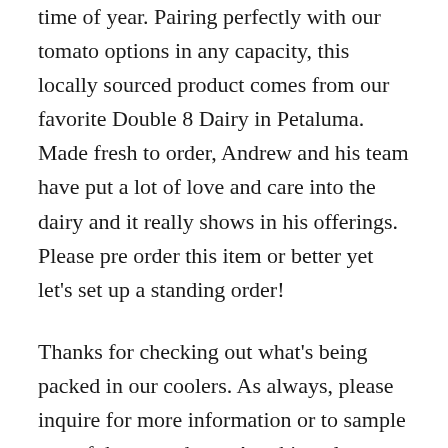time of year. Pairing perfectly with our tomato options in any capacity, this locally sourced product comes from our favorite Double 8 Dairy in Petaluma. Made fresh to order, Andrew and his team have put a lot of love and care into the dairy and it really shows in his offerings. Please pre order this item or better yet let’s set up a standing order!
Thanks for checking out what’s being packed in our coolers. As always, please inquire for more information or to sample any of these products. Anything else we can help with, please let us know.